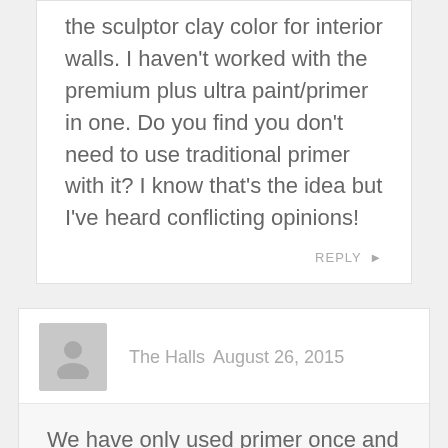the sculptor clay color for interior walls. I haven't worked with the premium plus ultra paint/primer in one. Do you find you don't need to use traditional primer with it? I know that's the idea but I've heard conflicting opinions!
REPLY ▶
The Halls  August 26, 2015
We have only used primer once and that was to paint